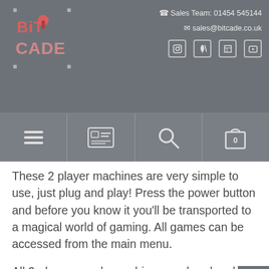[Figure (logo): Bitcade logo with pixel art style letters and a joystick graphic]
📞 Sales Team: 01454 545144
✉ sales@bitcoade.co.uk
[Figure (infographic): Navigation bar with hamburger menu, ID card icon, search icon, and shopping bag with 0]
These 2 player machines are very simple to use, just plug and play! Press the power button and before you know it you'll be transported to a magical world of gaming. All games can be accessed from the main menu.
All 2-player arcade machines are handmade by us in the UK, each machine is fully test